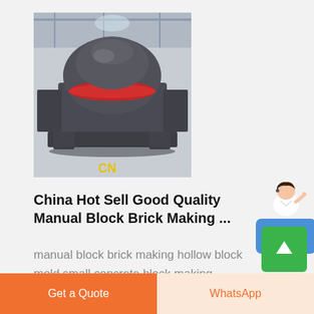[Figure (photo): Industrial machine (crusher/brick-making equipment) in a factory setting, dark grey heavy machinery with a red/orange accent ring, branded with CN logo in yellow text at bottom]
[Figure (illustration): Customer service agent figure (woman in white jacket with headset) pointing, above a blue Free chat button]
China Hot Sell Good Quality Manual Block Brick Making ...
manual block brick making hollow block mold small concrete block making features: Save Power, Save
Get a Quote | WhatsApp